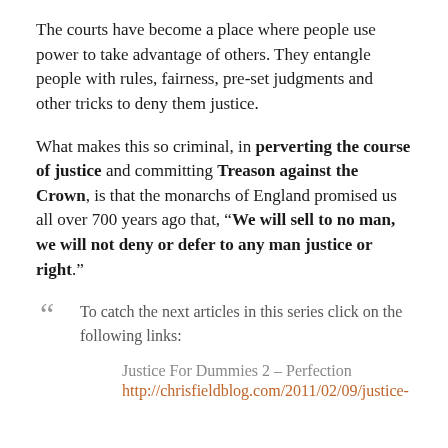The courts have become a place where people use power to take advantage of others. They entangle people with rules, fairness, pre-set judgments and other tricks to deny them justice.
What makes this so criminal, in perverting the course of justice and committing Treason against the Crown, is that the monarchs of England promised us all over 700 years ago that, “We will sell to no man, we will not deny or defer to any man justice or right.”
“ To catch the next articles in this series click on the following links:
Justice For Dummies 2 – Perfection
http://chrisfieldblog.com/2011/02/09/justice-